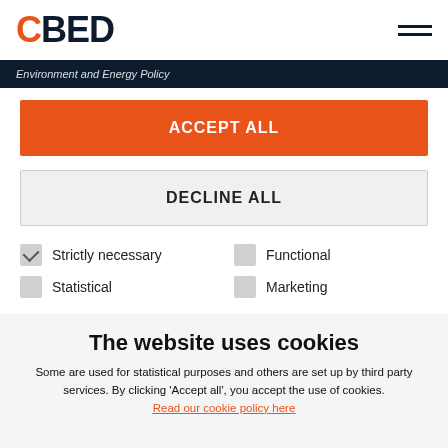CBED logo and navigation menu
Environment and Energy Policy
ACCEPT ALL
DECLINE ALL
Strictly necessary
Functional
Statistical
Marketing
The website uses cookies
Some are used for statistical purposes and others are set up by third party services. By clicking ‘Accept all’, you accept the use of cookies.
Read our cookie policy here